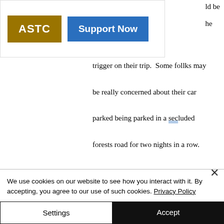[Figure (logo): ASTC logo button (gold/brown background, white text) and Support Now button (blue background, white text) in a white navigation bar overlay]
he
trigger on their trip.  Some follks may be really concerned about their car parked being parked in a secluded forests road for two nights in a row.
B2B (Business to Business).
Here you are being outsourced by a
We use cookies on our website to see how you interact with it. By accepting, you agree to our use of such cookies. Privacy Policy
Settings
Accept